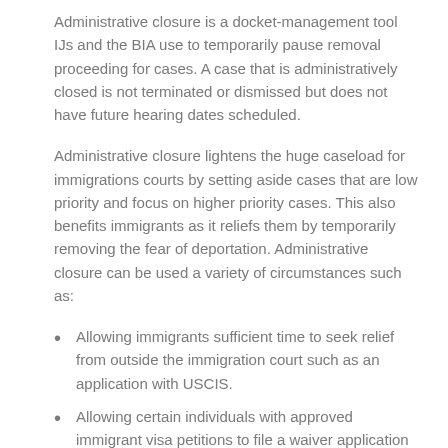Administrative closure is a docket-management tool IJs and the BIA use to temporarily pause removal proceeding for cases. A case that is administratively closed is not terminated or dismissed but does not have future hearing dates scheduled.
Administrative closure lightens the huge caseload for immigrations courts by setting aside cases that are low priority and focus on higher priority cases. This also benefits immigrants as it reliefs them by temporarily removing the fear of deportation. Administrative closure can be used a variety of circumstances such as:
Allowing immigrants sufficient time to seek relief from outside the immigration court such as an application with USCIS.
Allowing certain individuals with approved immigrant visa petitions to file a waiver application before leaving the country to process their visa at